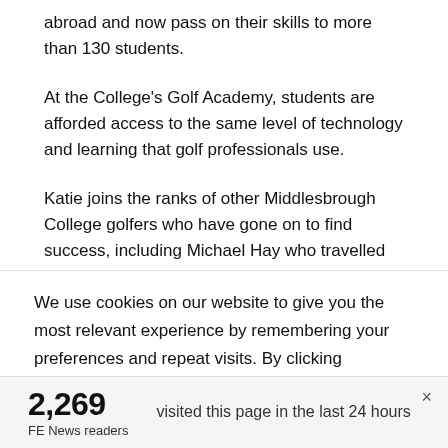abroad and now pass on their skills to more than 130 students.
At the College's Golf Academy, students are afforded access to the same level of technology and learning that golf professionals use.
Katie joins the ranks of other Middlesbrough College golfers who have gone on to find success, including Michael Hay who travelled from Middlesbrough to Miami to study at Nova Southeastern University.
James Atther said: “Katie has been a model Golf Academy...
We use cookies on our website to give you the most relevant experience by remembering your preferences and repeat visits. By clicking “Accept”, you consent to the use of ALL the cookies. However you may visit Cookie
2,269
FE News readers
visited this page in the last 24 hours